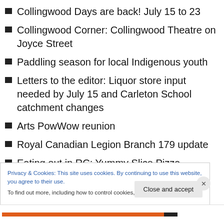Collingwood Days are back! July 15 to 23
Collingwood Corner: Collingwood Theatre on Joyce Street
Paddling season for local Indigenous youth
Letters to the editor: Liquor store input needed by July 15 and Carleton School catchment changes
Arts PowWow reunion
Royal Canadian Legion Branch 179 update
Eating out in RC: Yummy Slice Pizza
Stay refreshed with bubble tea
Privacy & Cookies: This site uses cookies. By continuing to use this website, you agree to their use.
To find out more, including how to control cookies, see here: Cookie Policy